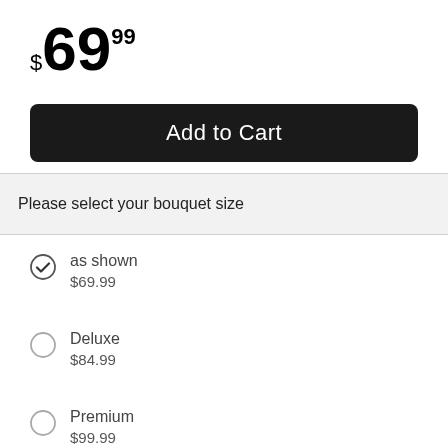$69.99
Add to Cart
Please select your bouquet size
as shown $69.99
Deluxe $84.99
Premium $99.99
Celebrate the arrival of the new baby boy with this handled whitewash basket of yellow Asiatic lilies, green